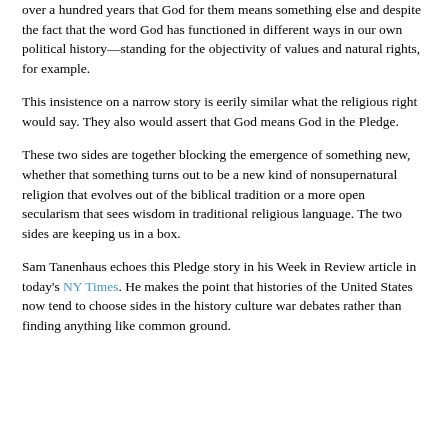over a hundred years that God for them means something else and despite the fact that the word God has functioned in different ways in our own political history—standing for the objectivity of values and natural rights, for example.
This insistence on a narrow story is eerily similar what the religious right would say. They also would assert that God means God in the Pledge.
These two sides are together blocking the emergence of something new, whether that something turns out to be a new kind of nonsupernatural religion that evolves out of the biblical tradition or a more open secularism that sees wisdom in traditional religious language. The two sides are keeping us in a box.
Sam Tanenhaus echoes this Pledge story in his Week in Review article in today's NY Times. He makes the point that histories of the United States now tend to choose sides in the history culture war debates rather than finding anything like common ground.